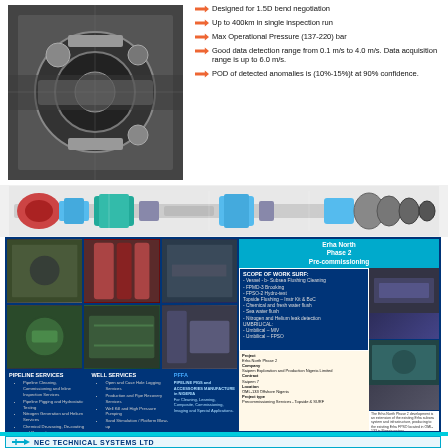[Figure (photo): Industrial machinery/pipeline inspection tool components, mechanical gears and parts]
Designed for 1.5D bend negotiation
Up to 400km in single inspection run
Max Operational Pressure (137-220) bar
Good data detection range from 0.1 m/s to 4.0 m/s. Data acquisition range is up to 6.0 m/s.
POD of detected anomalies is (10%-15%)t at 90% confidence.
[Figure (engineering-diagram): Cross-sectional diagram of pipeline inspection gauge (PIG) tool showing full assembly]
[Figure (photo): Oil and gas industry brochure showing pipeline services, well services, and pre-commissioning work for Erha North Phase 2]
SCOPE OF WORK SURF: - Vessel - b- Subsea Flushing Cleaning - FPMD-3 Brooking - FPSO-2 Hydro-test
Topside Flushing – Instr Kit & BoC
- Chemical and fresh water flush
- Sea water flush
- Nitrogen and Helium leak detection
UMBRILICAL:
- Umbilical – MIV
- Umbilical – FPSO
The Erha North Phase 2 development is an extension of the existing Erha subsea system and infrastructure, producing to the existing Erha FPSO located in OML-133 in Nigeria waters
Project: Erha North Phase 2
Company: Saipem Exploration and Production Nigeria Limited
Contract: Saipem 7
Location: OML-133 Offshore Nigeria
Project type: Precommissioning Services - Topside & SURF
PIPELINE SERVICES
Pipeline Cleaning, Commissioning and Inline Inspection Services
Pipeline Pigging and Hydrostatic Testing
Nitrogen Generation and Helium Services
Chemical De-waxing, De-coating and Re-coating
Valve Intr-locks and Anti-jumper locks
Pigging Barrel Design, Modification and Supply
WELL SERVICES
Open and Case Hole Logging Services
Production and Pipe Recovery Services
Well Kill and High Pressure Pumping
Sand Stimulation / Platform Blow-up
Comet Flush and Frac Pack Assistance
PFFA
PIPELINE PIGS and ACCESSORIES MANUFACTURE in NIGERIA
For Cleaning, Learning, Composite, Commissioning, Imaging and Special Applications.
[Figure (photo): NEC Technical Systems Ltd company logo and facility photos showing industrial/oil and gas services]